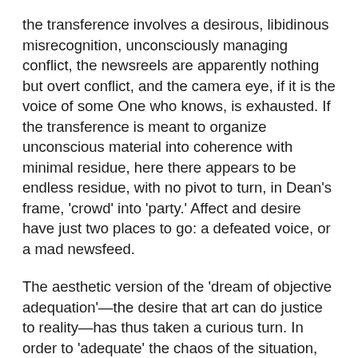the transference involves a desirous, libidinous misrecognition, unconsciously managing conflict, the newsreels are apparently nothing but overt conflict, and the camera eye, if it is the voice of some One who knows, is exhausted. If the transference is meant to organize unconscious material into coherence with minimal residue, here there appears to be endless residue, with no pivot to turn, in Dean's frame, 'crowd' into 'party.' Affect and desire have just two places to go: a defeated voice, or a mad newsfeed.
The aesthetic version of the 'dream of objective adequation'—the desire that art can do justice to reality—has thus taken a curious turn. In order to 'adequate' the chaos of the situation, the text amplifies its own chaos and dissipates any internal subjectivity. The textual form is not just one of defeat, but of despair—that the dollars, guns, armies, and power plants have ended the struggle once and for all. We are far from Sinclair's direct calls to 'you,' the reader, for action. 'Adequation' is dissolution, and it raises the question of whether the maintenance of some transferential security, no matter how fictional or